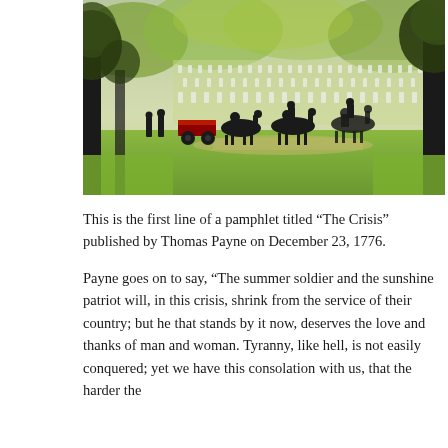[Figure (photo): A military funeral procession with a flag-draped casket on a horse-drawn caisson moving through Arlington National Cemetery. Rows of white grave markers are visible across a green lawn, with large trees framing the scene in silhouette.]
This is the first line of a pamphlet titled “The Crisis” published by Thomas Payne on December 23, 1776.
Payne goes on to say, “The summer soldier and the sunshine patriot will, in this crisis, shrink from the service of their country; but he that stands by it now, deserves the love and thanks of man and woman. Tyranny, like hell, is not easily conquered; yet we have this consolation with us, that the harder the